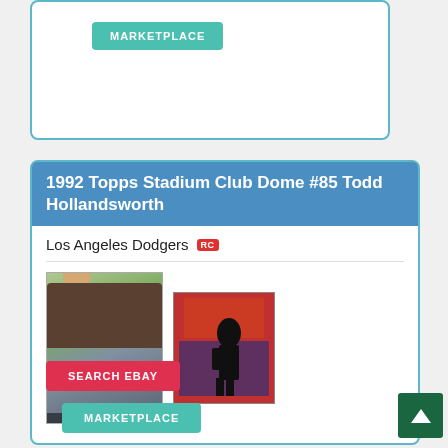[Figure (screenshot): Top card section with a teal MARKETPLACE button on white background with teal border]
1992 Topps Stadium Club Dome #85 Todd Hollandsworth
Los Angeles Dodgers RC
[Figure (photo): Baseball card image of Todd Hollandsworth in a floral shirt at a baseball field]
[Figure (photo): Secondary baseball card image with red background and player silhouette]
SEARCH EBAY
MARKETPLACE